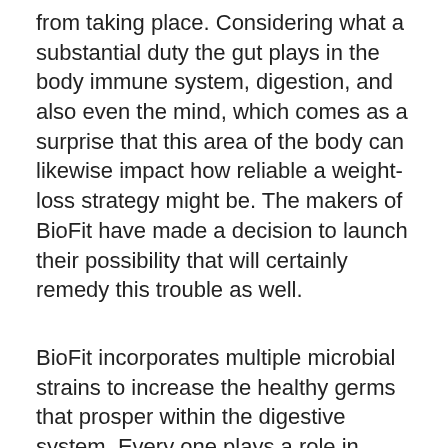from taking place. Considering what a substantial duty the gut plays in the body immune system, digestion, and also even the mind, which comes as a surprise that this area of the body can likewise impact how reliable a weight-loss strategy might be. The makers of BioFit have made a decision to launch their possibility that will certainly remedy this trouble as well.
BioFit incorporates multiple microbial strains to increase the healthy germs that prosper within the digestive system. Every one plays a role in supporting the healthy gut biome, providing the support that goes far beyond the capacity to lose weight. As customers consist of BioFit in their diet, the natural